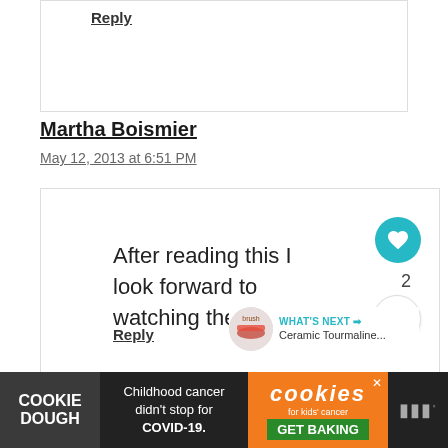Reply
Martha Boismier
May 12, 2013 at 6:51 PM
After reading this I look forward to watching the movie.
Reply
WHAT'S NEXT → Ceramic Tourmaline...
COOKIE DOUGH Childhood cancer didn't stop for COVID-19. cookies for kids' cancer GET BAKING